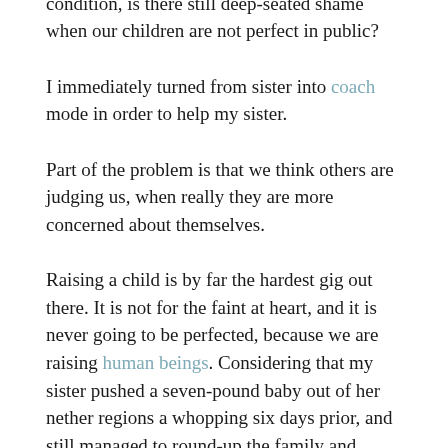Why then, if this is part of the human condition, is there still deep-seated shame when our children are not perfect in public?
I immediately turned from sister into coach mode in order to help my sister.
Part of the problem is that we think others are judging us, when really they are more concerned about themselves.
Raising a child is by far the hardest gig out there. It is not for the faint at heart, and it is never going to be perfected, because we are raising human beings. Considering that my sister pushed a seven-pound baby out of her nether regions a whopping six days prior, and still managed to round-up the family and